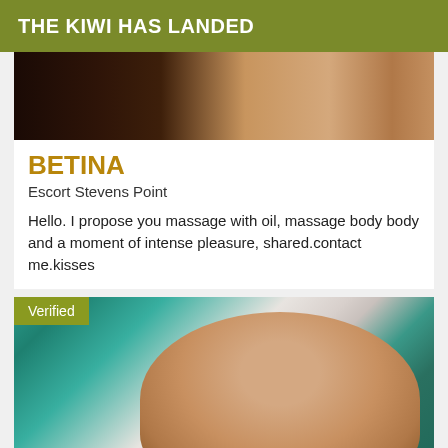THE KIWI HAS LANDED
[Figure (photo): Partial photo of a person, cropped at top, showing skin tones and a wooden surface in background]
BETINA
Escort Stevens Point
Hello. I propose you massage with oil, massage body body and a moment of intense pleasure, shared.contact me.kisses
[Figure (photo): Photo of a bald middle-aged man wearing a teal/turquoise shirt, smiling, with a light gray background. A 'Verified' badge is shown in the top-left corner of the photo.]